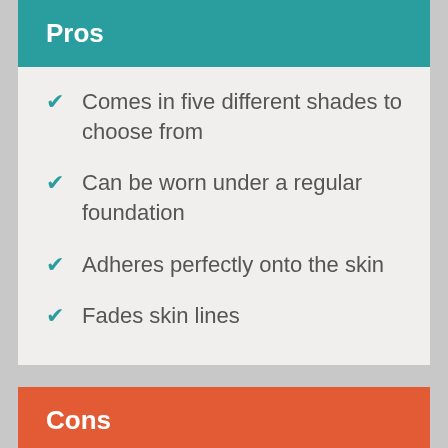Pros
Comes in five different shades to choose from
Can be worn under a regular foundation
Adheres perfectly onto the skin
Fades skin lines
Cons